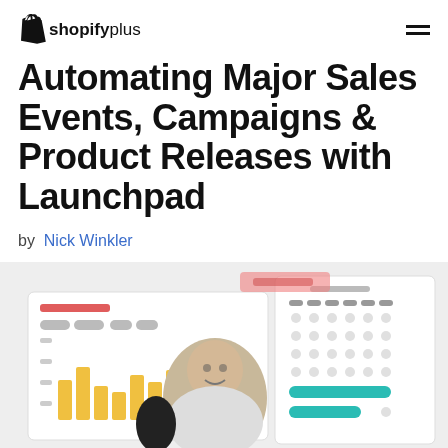shopifyplus
Automating Major Sales Events, Campaigns & Product Releases with Launchpad
by Nick Winkler
[Figure (screenshot): Hero image showing a person smiling at a camera with a studio microphone in the foreground, alongside UI screenshots of a Shopify dashboard with a bar chart and a calendar/scheduler interface with teal-colored highlight bars.]